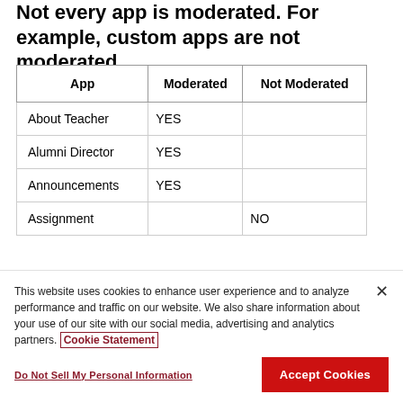Not every app is moderated. For example, custom apps are not moderated.
| App | Moderated | Not Moderated |
| --- | --- | --- |
| About Teacher | YES |  |
| Alumni Director | YES |  |
| Announcements | YES |  |
| Assignment |  | NO |
This website uses cookies to enhance user experience and to analyze performance and traffic on our website. We also share information about your use of our site with our social media, advertising and analytics partners. Cookie Statement
Do Not Sell My Personal Information
Accept Cookies